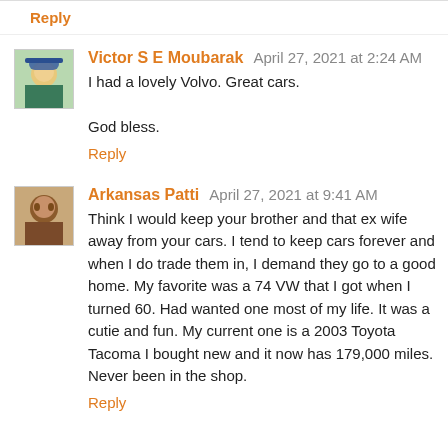Reply
Victor S E Moubarak  April 27, 2021 at 2:24 AM
I had a lovely Volvo. Great cars.

God bless.
Reply
Arkansas Patti  April 27, 2021 at 9:41 AM
Think I would keep your brother and that ex wife away from your cars. I tend to keep cars forever and when I do trade them in, I demand they go to a good home. My favorite was a 74 VW that I got when I turned 60. Had wanted one most of my life. It was a cutie and fun. My current one is a 2003 Toyota Tacoma I bought new and it now has 179,000 miles. Never been in the shop.
Reply